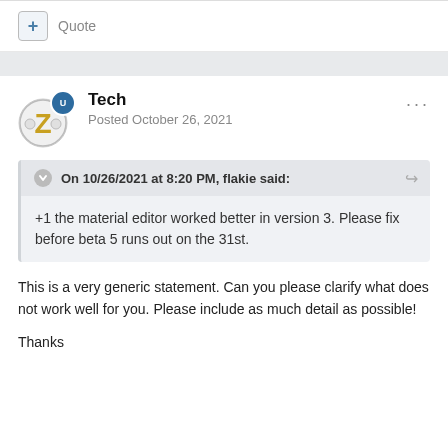Quote
Tech
Posted October 26, 2021
On 10/26/2021 at 8:20 PM, flakie said:
+1 the material editor worked better in version 3. Please fix before beta 5 runs out on the 31st.
This is a very generic statement. Can you please clarify what does not work well for you. Please include as much detail as possible!

Thanks